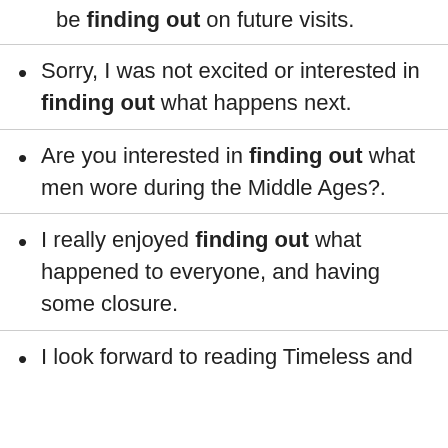be finding out on future visits.
Sorry, I was not excited or interested in finding out what happens next.
Are you interested in finding out what men wore during the Middle Ages?.
I really enjoyed finding out what happened to everyone, and having some closure.
I look forward to reading Timeless and